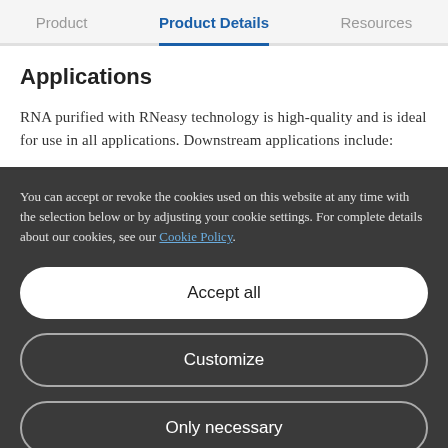Product    Product Details    Resources
Applications
RNA purified with RNeasy technology is high-quality and is ideal for use in all applications. Downstream applications include:
You can accept or revoke the cookies used on this website at any time with the selection below or by adjusting your cookie settings. For complete details about our cookies, see our Cookie Policy.
Accept all
Customize
Only necessary